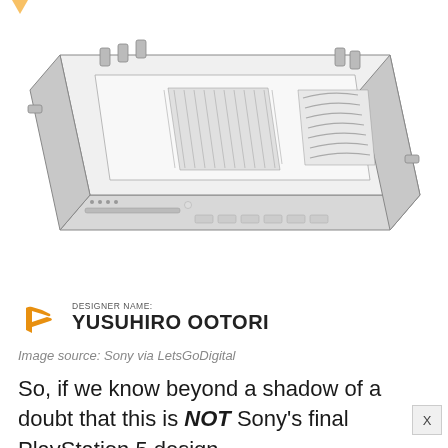[Figure (illustration): Patent-style technical line drawing of a PlayStation 5 console concept shown in isometric view, with visible ventilation grilles, disc slot, USB ports, and curved body panels. Designer name watermark: YUSUHIRO OOTORI with PlayStation logo.]
Image source: Sony via LetsGoDigital
So, if we know beyond a shadow of a doubt that this is NOT Sony's final PlayStation 5 design,